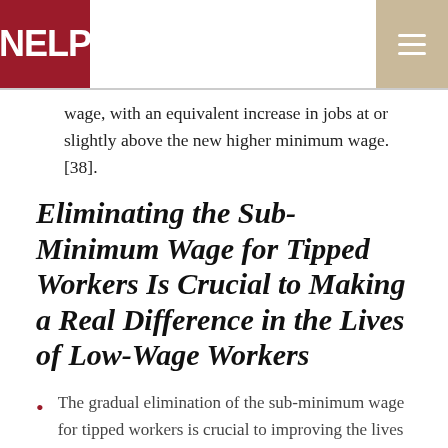NELP
wage, with an equivalent increase in jobs at or slightly above the new higher minimum wage.[38].
Eliminating the Sub-Minimum Wage for Tipped Workers Is Crucial to Making a Real Difference in the Lives of Low-Wage Workers
The gradual elimination of the sub-minimum wage for tipped workers is crucial to improving the lives and economic prospects of low-wage workers in Maryland. Without it, a